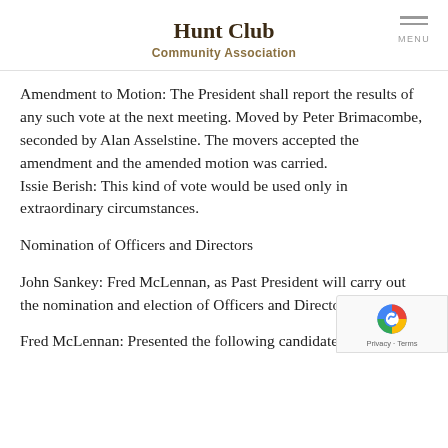Hunt Club Community Association
Amendment to Motion: The President shall report the results of any such vote at the next meeting. Moved by Peter Brimacombe, seconded by Alan Asselstine. The movers accepted the amendment and the amended motion was carried. Issie Berish: This kind of vote would be used only in extraordinary circumstances.
Nomination of Officers and Directors
John Sankey: Fred McLennan, as Past President will carry out the nomination and election of Officers and Directors.
Fred McLennan: Presented the following candidates: